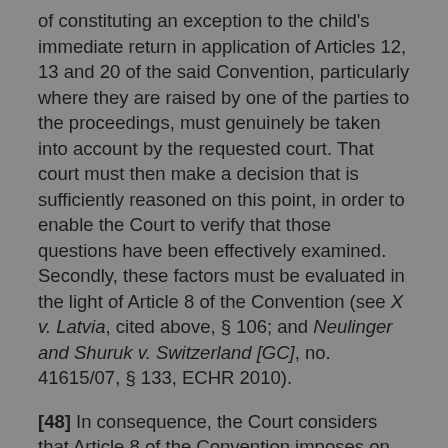of constituting an exception to the child's immediate return in application of Articles 12, 13 and 20 of the said Convention, particularly where they are raised by one of the parties to the proceedings, must genuinely be taken into account by the requested court. That court must then make a decision that is sufficiently reasoned on this point, in order to enable the Court to verify that those questions have been effectively examined. Secondly, these factors must be evaluated in the light of Article 8 of the Convention (see X v. Latvia, cited above, § 106; and Neulinger and Shuruk v. Switzerland [GC], no. 41615/07, § 133, ECHR 2010).
[48] In consequence, the Court considers that Article 8 of the Convention imposes on the domestic authorities a particular procedural obligation in this respect: when assessing an application for a child's return, the courts must not only consider arguable objections to the child's return, but must also make a ruling giving specific reasons